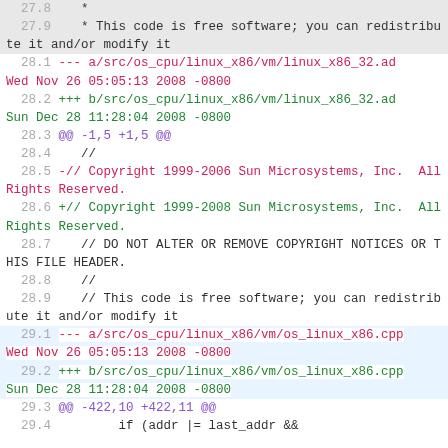27.8    *
27.9    * This code is free software; you can redistribute it and/or modify it
28.1 --- a/src/os_cpu/linux_x86/vm/linux_x86_32.ad Wed Nov 26 05:05:13 2008 -0800
28.2 +++ b/src/os_cpu/linux_x86/vm/linux_x86_32.ad Sun Dec 28 11:28:04 2008 -0800
28.3 @@ -1,5 +1,5 @@
28.4    //
28.5 -// Copyright 1999-2006 Sun Microsystems, Inc.  All Rights Reserved.
28.6 +// Copyright 1999-2008 Sun Microsystems, Inc.  All Rights Reserved.
28.7    // DO NOT ALTER OR REMOVE COPYRIGHT NOTICES OR THIS FILE HEADER.
28.8    //
28.9    // This code is free software; you can redistribute it and/or modify it
29.1 --- a/src/os_cpu/linux_x86/vm/os_linux_x86.cpp Wed Nov 26 05:05:13 2008 -0800
29.2 +++ b/src/os_cpu/linux_x86/vm/os_linux_x86.cpp Sun Dec 28 11:28:04 2008 -0800
29.3 @@ -422,10 +422,11 @@
29.4         if (addr |= last_addr &&